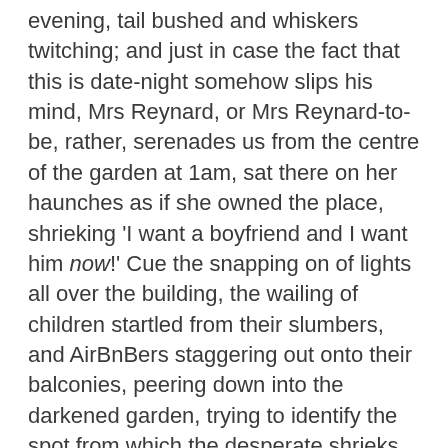evening, tail bushed and whiskers twitching; and just in case the fact that this is date-night somehow slips his mind, Mrs Reynard, or Mrs Reynard-to-be, rather, serenades us from the centre of the garden at 1am, sat there on her haunches as if she owned the place, shrieking 'I want a boyfriend and I want him now!' Cue the snapping on of lights all over the building, the wailing of children startled from their slumbers, and AirBnBers staggering out onto their balconies, peering down into the darkened garden, trying to identify the spot from which the desperate shrieks and screams are issuing and what on earth it is, down there, that can be producing them. Last time it happened, some newby, uninitiated in the ways of London wildlife, and convinced that somewhere down there in the garden, murder was being done, actually called the police. We all got back to bed at three-ish. Hey ho.